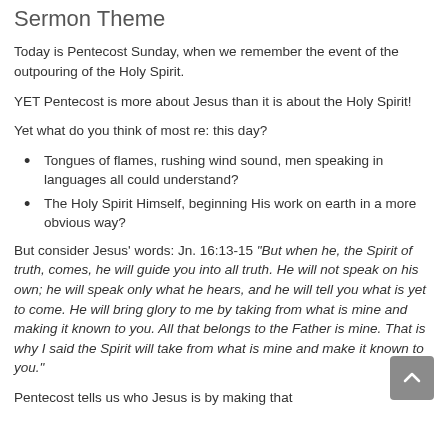Sermon Theme
Today is Pentecost Sunday, when we remember the event of the outpouring of the Holy Spirit.
YET Pentecost is more about Jesus than it is about the Holy Spirit!
Yet what do you think of most re: this day?
Tongues of flames, rushing wind sound, men speaking in languages all could understand?
The Holy Spirit Himself, beginning His work on earth in a more obvious way?
But consider Jesus' words: Jn. 16:13-15 “But when he, the Spirit of truth, comes, he will guide you into all truth. He will not speak on his own; he will speak only what he hears, and he will tell you what is yet to come. He will bring glory to me by taking from what is mine and making it known to you. All that belongs to the Father is mine. That is why I said the Spirit will take from what is mine and make it known to you.”
Pentecost tells us who Jesus is by making that